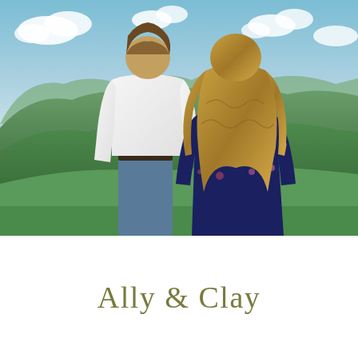[Figure (photo): A couple standing with their backs to the camera, looking out over rolling green mountains under a blue sky with white clouds. The man is on the left wearing a white dress shirt and jeans. The woman is on the right wearing a dark navy floral dress with long wavy blonde-brown hair.]
Ally & Clay